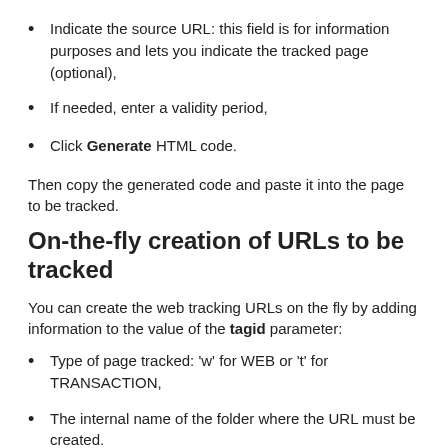Indicate the source URL: this field is for information purposes and lets you indicate the tracked page (optional),
If needed, enter a validity period,
Click Generate HTML code.
Then copy the generated code and paste it into the page to be tracked.
On-the-fly creation of URLs to be tracked
You can create the web tracking URLs on the fly by adding information to the value of the tagid parameter:
Type of page tracked: 'w' for WEB or 't' for TRANSACTION,
The internal name of the folder where the URL must be created.
These two pieces of information must be concatenated with the